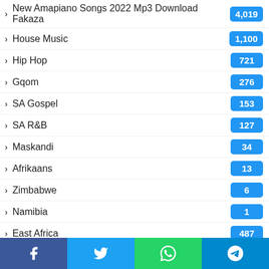New Amapiano Songs 2022 Mp3 Download Fakaza
House Music
Hip Hop
Gqom
SA Gospel
SA R&B
Maskandi
Afrikaans
Zimbabwe
Namibia
East Africa
Tanzania
Kenya
Facebook | Twitter | WhatsApp | Telegram